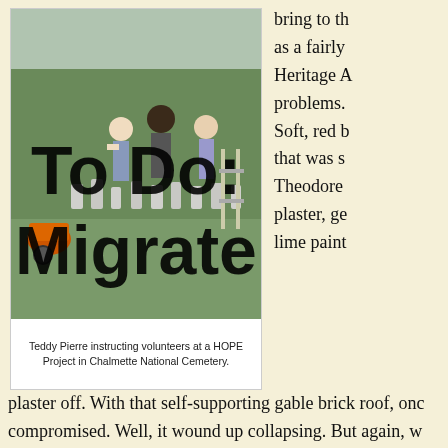[Figure (photo): Volunteers working at a cemetery, with a man instructing them. Orange wheelbarrow visible on left, grave markers in background. Large text 'To Do: Migrate' overlaid on the image.]
Teddy Pierre instructing volunteers at a HOPE Project in Chalmette National Cemetery.
bring to th... as a fairly... Heritage A... problems. Soft, red b... that was s... Theodore... plaster, ge... lime paint...
plaster off. With that self-supporting gable brick roof, onc... compromised. Well, it wound up collapsing. But again, w... was the fact that when it came time to rebuild that structu...
One was to build a plywood form, leave one end of the g... form. Well, I had three choices. I could have just left the...